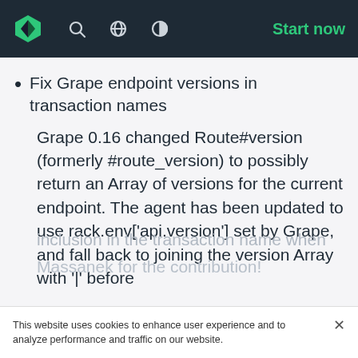Start now
Fix Grape endpoint versions in transaction names
Grape 0.16 changed Route#version (formerly #route_version) to possibly return an Array of versions for the current endpoint. The agent has been updated to use rack.env['api.version'] set by Grape, and fall back to joining the version Array with '|' before inclusion in the transaction name when...
This website uses cookies to enhance user experience and to analyze performance and traffic on our website.